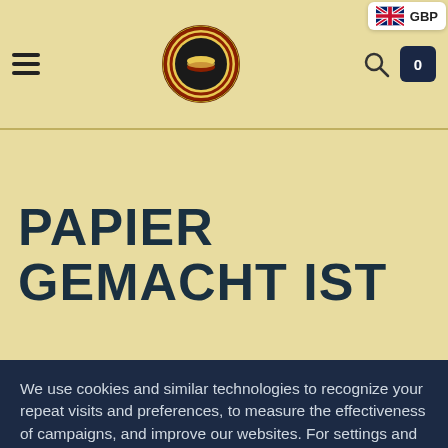[Figure (screenshot): Website header bar with hamburger menu icon on left, circular logo in center, search icon and cart button on right. GBP currency badge in top-right corner with UK flag.]
PAPIER GEMACHT IST
We use cookies and similar technologies to recognize your repeat visits and preferences, to measure the effectiveness of campaigns, and improve our websites. For settings and more information about cookies, view our Cookie Policy. By clicking "I accept" on this banner or using our site, you consent to the use of cookies.
I ACCEPT